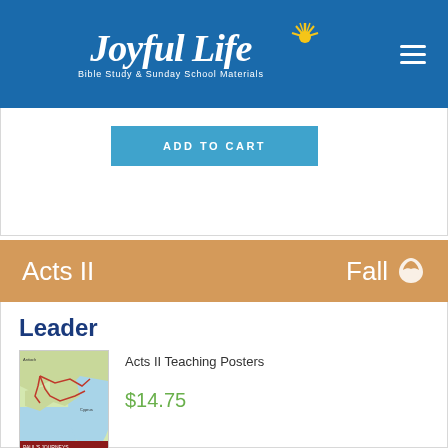Joyful Life Bible Study & Sunday School Materials
ADD TO CART
Acts II — Fall
Leader
[Figure (map): Map showing Paul's missionary journeys in the Mediterranean region]
Acts II Teaching Posters
$14.75